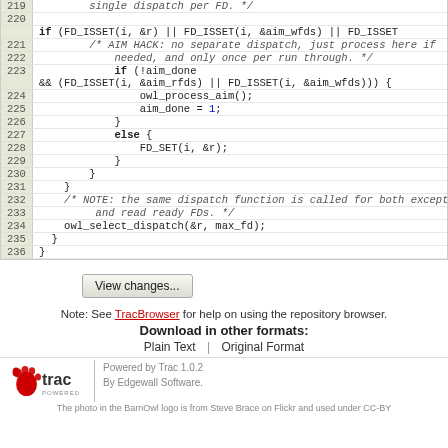[Figure (screenshot): Source code viewer showing C code lines 219-236 with line numbers on the left in a beige column and code on the right]
View changes...
Note: See TracBrowser for help on using the repository browser.
Download in other formats:
Plain Text | Original Format
Powered by Trac 1.0.2 By Edgewall Software. The photo in the BarnOwl logo is from Steve Brace on Flickr and used under CC-BY